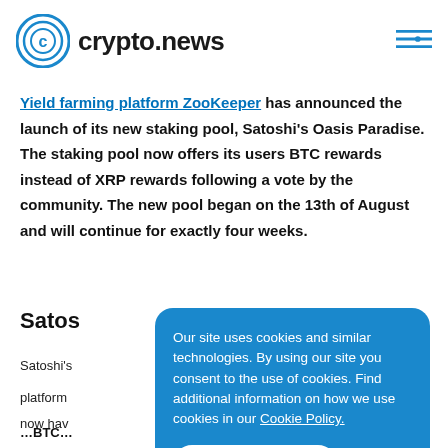crypto.news
Yield farming platform ZooKeeper has announced the launch of its new staking pool, Satoshi's Oasis Paradise. The staking pool now offers its users BTC rewards instead of XRP rewards following a vote by the community. The new pool began on the 13th of August and will continue for exactly four weeks.
Satoshi's…
Satoshi's…
platform…
now hav…
[Figure (other): Cookie consent overlay banner with text: Our site uses cookies and similar technologies. By using our site you consent to the use of cookies. Find additional information on how we use cookies in our Cookie Policy. Button: I accept cookies]
…BTC…